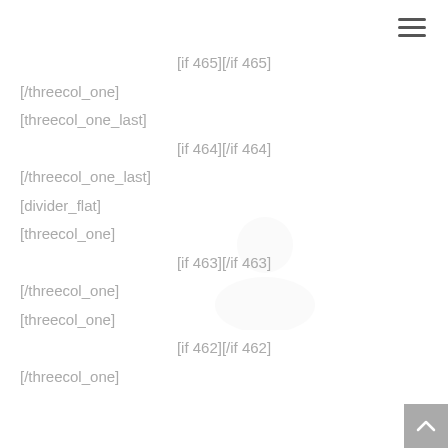[if 465][/if 465]
[/threecol_one]
[threecol_one_last]
[if 464][/if 464]
[/threecol_one_last]
[divider_flat]
[threecol_one]
[if 463][/if 463]
[/threecol_one]
[threecol_one]
[if 462][/if 462]
[/threecol_one]